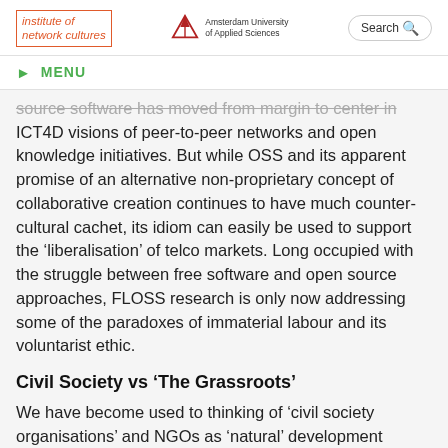institute of network cultures | Amsterdam University of Applied Sciences | Search
MENU
source software has moved from margin to center in ICT4D visions of peer-to-peer networks and open knowledge initiatives. But while OSS and its apparent promise of an alternative non-proprietary concept of collaborative creation continues to have much counter-cultural cachet, its idiom can easily be used to support the ‘liberalisation’ of telco markets. Long occupied with the struggle between free software and open source approaches, FLOSS research is only now addressing some of the paradoxes of immaterial labour and its voluntarist ethic.
Civil Society vs ‘The Grassroots’
We have become used to thinking of ‘civil society organisations’ and NGOs as ‘natural’ development